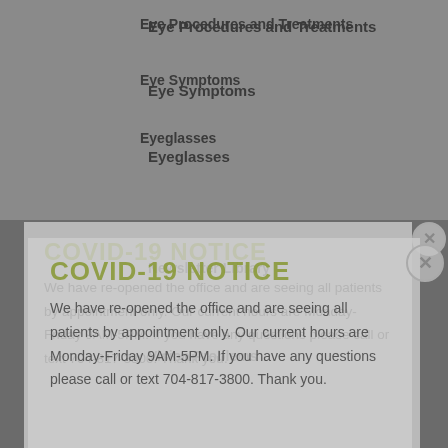Eye Procedures and Treatments
Eye Symptoms
Eyeglasses
Newsletter Library
Vision Problems
COVID-19 NOTICE
We have re-opened the office and are seeing all patients by appointment only. Our current hours are Monday-Friday 9AM-5PM. If you have any questions please call or text 704-817-3800. Thank you.
BLINK EYE CARE
The eye doctors at Blink Eyecare and Eyewear have over 40 years of combined experience. Our mission is to build personal relationships in our community, surpass our patients needs, and provide a welcoming place to get the best eye care and eyewear.